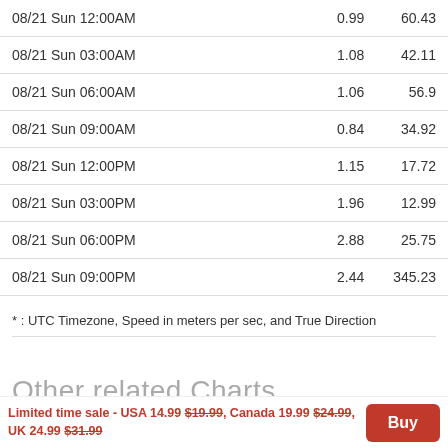| 08/21 Sun 12:00AM | 0.99 | 60.43 |
| 08/21 Sun 03:00AM | 1.08 | 42.11 |
| 08/21 Sun 06:00AM | 1.06 | 56.9 |
| 08/21 Sun 09:00AM | 0.84 | 34.92 |
| 08/21 Sun 12:00PM | 1.15 | 17.72 |
| 08/21 Sun 03:00PM | 1.96 | 12.99 |
| 08/21 Sun 06:00PM | 2.88 | 25.75 |
| 08/21 Sun 09:00PM | 2.44 | 345.23 |
* : UTC Timezone, Speed in meters per sec, and True Direction
Other related Charts
Deboullie Pond
Upper Pond
Limited time sale - USA 14.99 $19.99, Canada 19.99 $24.99, UK 24.99 $31.99